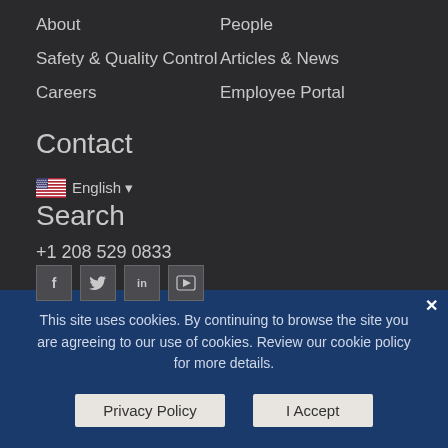About
People
Safety & Quality Control
Articles & News
Careers
Employee Portal
Contact
English
Search
+1 208 529 0833
[Figure (other): Social media icons: Facebook, Twitter, LinkedIn, YouTube]
This site uses cookies. By continuing to browse the site you are agreeing to our use of cookies. Review our cookie policy for more details.
Privacy Policy
I Accept